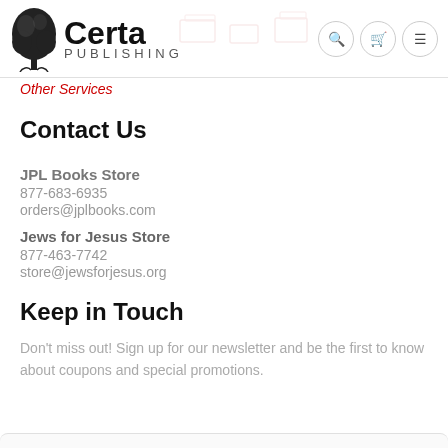Certa Publishing
Other Services
Contact Us
JPL Books Store
877-683-6935
orders@jplbooks.com
Jews for Jesus Store
877-463-7742
store@jewsforjesus.org
Keep in Touch
Don't miss out! Sign up for our newsletter and be the first to know about coupons and special promotions.